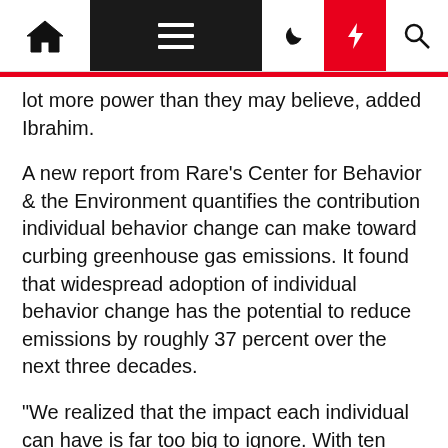Navigation bar with home, menu, dark mode, lightning, and search icons
lot more power than they may believe, added Ibrahim.
A new report from Rare's Center for Behavior & the Environment quantifies the contribution individual behavior change can make toward curbing greenhouse gas emissions. It found that widespread adoption of individual behavior change has the potential to reduce emissions by roughly 37 percent over the next three decades.
"We realized that the impact each individual can have is far too big to ignore. With ten years to cut our emissions in half, we need every caring person onboard," said Ibrahim.
Source Article